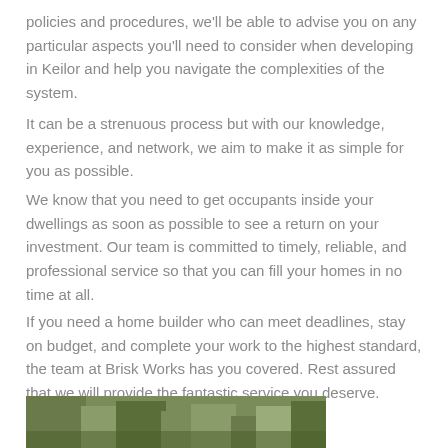policies and procedures, we'll be able to advise you on any particular aspects you'll need to consider when developing in Keilor and help you navigate the complexities of the system.
It can be a strenuous process but with our knowledge, experience, and network, we aim to make it as simple for you as possible.
We know that you need to get occupants inside your dwellings as soon as possible to see a return on your investment. Our team is committed to timely, reliable, and professional service so that you can fill your homes in no time at all.
If you need a home builder who can meet deadlines, stay on budget, and complete your work to the highest standard, the team at Brisk Works has you covered. Rest assured that we will provide the fantastic service you deserve.
[Figure (photo): Partial view of a landscape/outdoor photo strip at the bottom of the page showing trees and greenery]